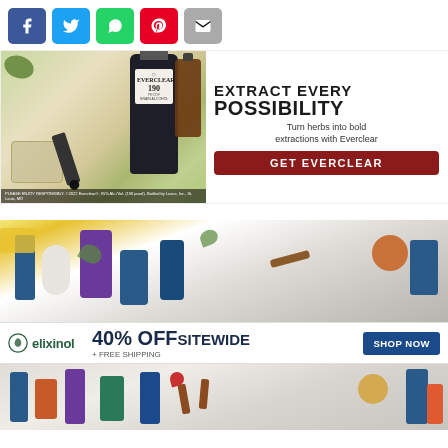[Figure (screenshot): Social sharing buttons row: Facebook (blue), Twitter (light blue), WhatsApp (green), Pinterest (red), Email (gray)]
[Figure (photo): Everclear 190 proof grain alcohol advertisement. Left side: photo of Everclear bottle, amber dropper bottle, and glass jar with herbs. Right side: white background with text 'EXTRACT EVERY POSSIBILITY', 'Turn herbs into bold extractions with Everclear', red button 'GET EVERCLEAR'. Footer: 'PLEASE ENJOY RESPONSIBLY. ©2022 Everclear®, 95% Alc./Vol. (190 proof). Bottled by Luxco, Inc., St. Louis, MO']
[Figure (photo): Elixinol CBD supplement advertisement. Shows various supplement bottles and products on white background. Banner reads: elixinol logo, '40% OFF SITEWIDE + FREE SHIPPING', blue 'SHOP NOW' button.]